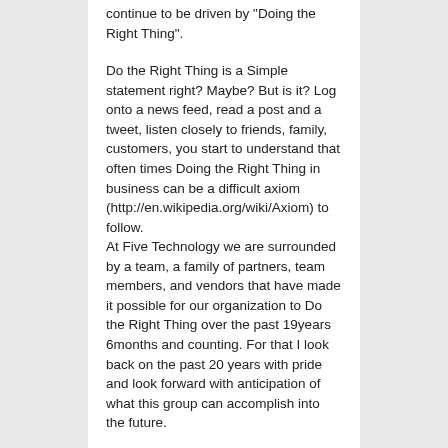continue to be driven by "Doing the Right Thing".
Do the Right Thing is a Simple statement right? Maybe? But is it? Log onto a news feed, read a post and a tweet, listen closely to friends, family, customers, you start to understand that often times Doing the Right Thing in business can be a difficult axiom (http://en.wikipedia.org/wiki/Axiom) to follow.
At Five Technology we are surrounded by a team, a family of partners, team members, and vendors that have made it possible for our organization to Do the Right Thing over the past 19years 6months and counting. For that I look back on the past 20 years with pride and look forward with anticipation of what this group can accomplish into the future.